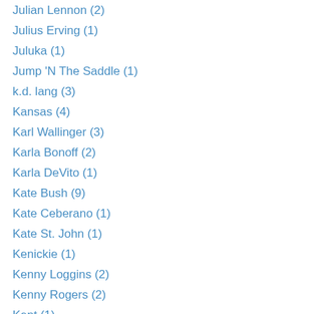Julian Lennon (2)
Julius Erving (1)
Juluka (1)
Jump 'N The Saddle (1)
k.d. lang (3)
Kansas (4)
Karl Wallinger (3)
Karla Bonoff (2)
Karla DeVito (1)
Kate Bush (9)
Kate Ceberano (1)
Kate St. John (1)
Kenickie (1)
Kenny Loggins (2)
Kenny Rogers (2)
Kent (1)
Kermit The Frog (1)
Kevin Bacon (1)
Kevin Costner (1)
Khmer Rouge (1)